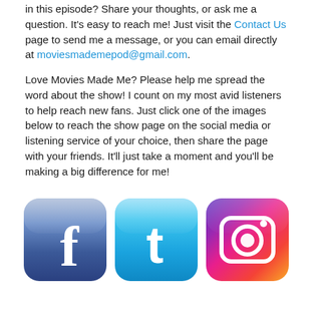in this episode?  Share your thoughts, or ask me a question.  It's easy to reach me!  Just visit the Contact Us page to send me a message, or you can email directly at moviesmademepod@gmail.com.
Love Movies Made Me? Please help me spread the word about the show! I count on my most avid listeners to help reach new fans.  Just click one of the images below to reach the show page on the social media or listening service of your choice, then share the page with your friends.  It'll just take a moment and you'll be making a big difference for me!
[Figure (logo): Three social media icons in a row: Facebook (blue rounded square with white 'f'), Twitter (light blue rounded square with white 't'), and Instagram (gradient purple-pink-orange rounded square with white camera outline icon)]